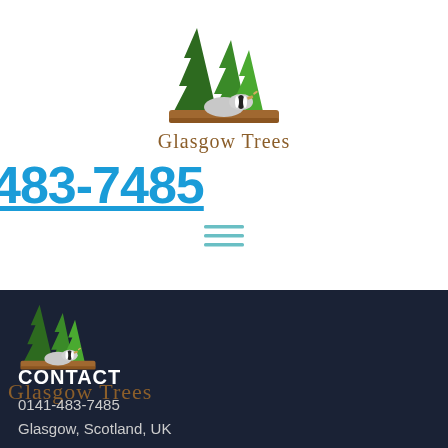[Figure (logo): Glasgow Trees logo with green pine trees and a badger on wooden planks, with 'Glasgow Trees' text in brown serif font]
483-7485
[Figure (other): Hamburger menu icon with three horizontal teal lines]
[Figure (logo): Glasgow Trees logo repeated in footer dark background section]
CONTACT
0141-483-7485
Glasgow, Scotland, UK